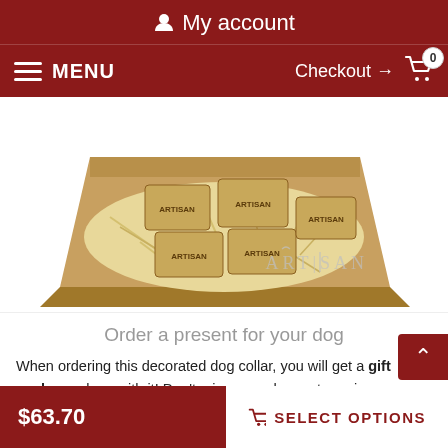My account
MENU  Checkout → 0
[Figure (photo): Gift-wrapped dog collar packages stamped with ARTISAN branding, nestled in shredded paper inside a kraft cardboard box, with the ARTISAN logo watermark in the lower right corner of the image area.]
Order a present for your dog
When ordering this decorated dog collar, you will get a gift package along with it! Don't miss your chance to praise your lovely doggie with significant collar made of full grain leather. It is a unique offer available for our customers! A gift package
$63.70  SELECT OPTIONS